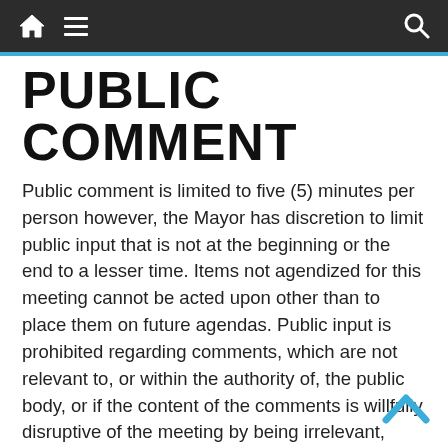PUBLIC COMMENT
Public comment is limited to five (5) minutes per person however, the Mayor has discretion to limit public input that is not at the beginning or the end to a lesser time. Items not agendized for this meeting cannot be acted upon other than to place them on future agendas. Public input is prohibited regarding comments, which are not relevant to, or within the authority of, the public body, or if the content of the comments is willfully disruptive of the meeting by being irrelevant, repetitious, slanderous, offensive, inflammatory, irrational or amounting to personal attacks or interfering, with the rights of other speakers.